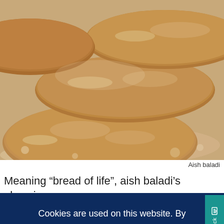[Figure (photo): Close-up photograph of aish baladi flatbreads stacked on a floured surface, warm golden-brown color]
Aish baladi
Meaning “bread of life”, aish baladi’s place in
Cookies are used on this website. By continuing to browse the site, you agree to the use of cookies. Read More
OKAY